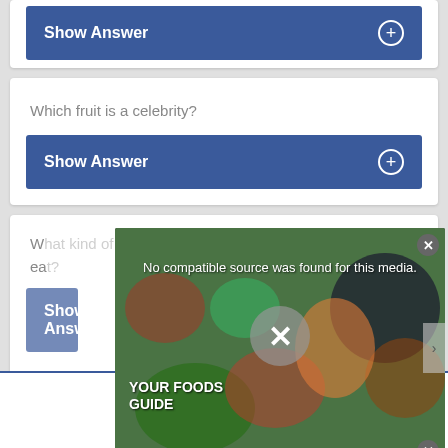[Figure (screenshot): Show Answer button (blue) at top of page, partially visible card]
Which fruit is a celebrity?
[Figure (screenshot): Show Answer button (blue) for 'Which fruit is a celebrity?' question]
What kind of food do butterflies like to eat?
[Figure (screenshot): Ad overlay with food image, 'YOUR FOODS GUIDE' text, and 'No compatible source was found for this media.' message. Close buttons visible.]